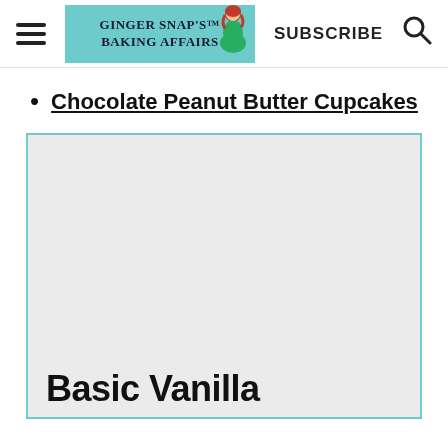GINGER SNAP'S BAKING AFFAIRS | SUBSCRIBE
Chocolate Peanut Butter Cupcakes
[Figure (photo): Light gray placeholder image inside a teal-bordered card]
Basic Vanilla